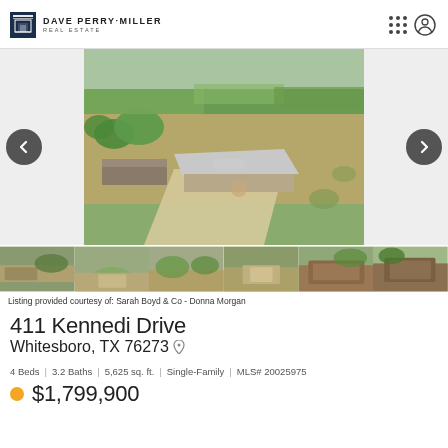DAVE PERRY-MILLER REAL ESTATE
[Figure (photo): Aerial drone photograph of a rural property at 411 Kennedi Drive, Whitesboro TX, showing a large metal barndominium-style building with parking area, surrounded by open fields and trees.]
Listing provided courtesy of: Sarah Boyd & Co - Donna Morgan
411 Kennedi Drive
Whitesboro, TX 76273
4 Beds | 3.2 Baths | 5,625 sq. ft. | Single-Family | MLS# 20025975
$1,799,900